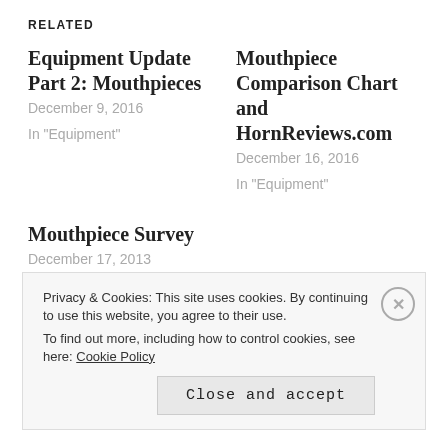RELATED
Equipment Update Part 2: Mouthpieces
December 9, 2016

In "Equipment"
Mouthpiece Comparison Chart and HornReviews.com
December 16, 2016

In "Equipment"
Mouthpiece Survey
December 17, 2013

In "Equipment"
Privacy & Cookies: This site uses cookies. By continuing to use this website, you agree to their use.
To find out more, including how to control cookies, see here: Cookie Policy

Close and accept